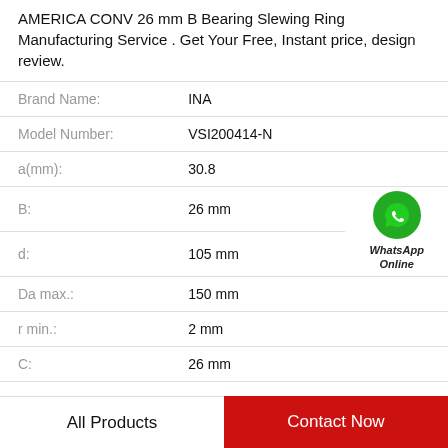AMERICA CONV 26 mm B Bearing Slewing Ring Manufacturing Service . Get Your Free, Instant price, design review.
| Property | Value |
| --- | --- |
| Brand Name: | INA |
| Model Number: | VSI200414-N |
| a(mm): | 30.8 |
| B: | 26 mm |
| d: | 105 mm |
| Da max.: | 150 mm |
| r min.: | 2 mm |
| C: | 26 mm |
[Figure (logo): WhatsApp Online green circle phone icon with text 'WhatsApp Online']
All Products   Contact Now